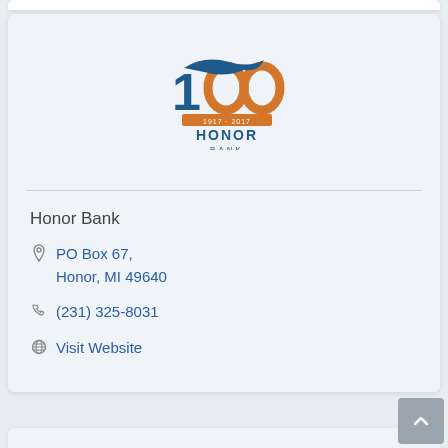[Figure (logo): Honor Bank 100th anniversary logo (1917-2017) with blue and orange design]
Honor Bank
PO Box 67,
Honor, MI 49640
(231) 325-8031
Visit Website